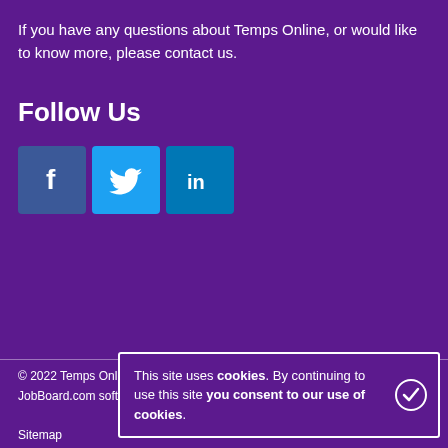If you have any questions about Temps Online, or would like to know more, please contact us.
Follow Us
[Figure (other): Social media icons: Facebook (blue square with f), Twitter (light blue square with bird), LinkedIn (teal square with in)]
© 2022 Temps Online
JobBoard.com software by HotLizard
Sitemap
This site uses cookies. By continuing to use this site you consent to our use of cookies.